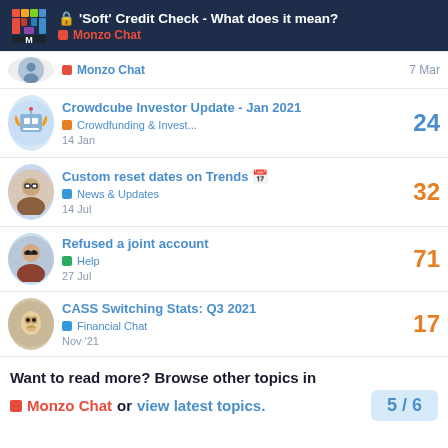'Soft' Credit Check - What does it mean? | Monzo Chat
Monzo Chat | 7 Mar
Crowdcube Investor Update - Jan 2021 | Crowdfunding & Invest... | 14 Jan | 24 replies
Custom reset dates on Trends | News & Updates | 14 Jul | 32 replies
Refused a joint account | Help | 27 Jul | 71 replies
CASS Switching Stats: Q3 2021 | Financial Chat | Nov '21 | 17 replies
Want to read more? Browse other topics in Monzo Chat or view latest topics.
5 / 6